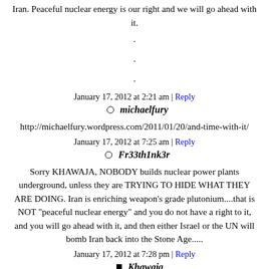Iran. Peaceful nuclear energy is our right and we will go ahead with it.
.
.
.
January 17, 2012 at 2:21 am | Reply
michaelfury
http://michaelfury.wordpress.com/2011/01/20/and-time-with-it/
January 17, 2012 at 7:25 am | Reply
Fr33th1nk3r
Sorry KHAWAJA, NOBODY builds nuclear power plants underground, unless they are TRYING TO HIDE WHAT THEY ARE DOING. Iran is enriching weapon's grade plutonium....that is NOT "peaceful nuclear energy" and you do not have a right to it, and you will go ahead with it, and then either Israel or the UN will bomb Iran back into the Stone Age.....
January 17, 2012 at 7:28 pm | Reply
Khawaja